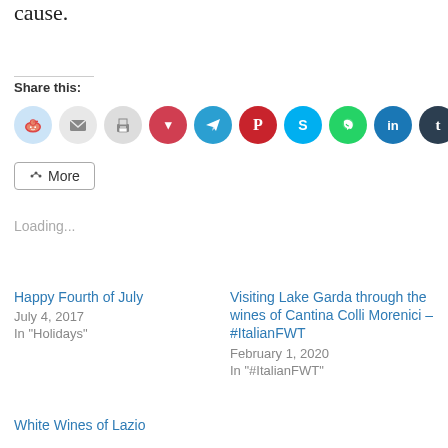cause.
Share this:
[Figure (other): Row of social sharing icon buttons: Reddit (light blue), Email (light gray), Print (light gray), Pocket (red), Telegram (blue), Pinterest (dark red), Skype (light blue), WhatsApp (green), LinkedIn (dark blue), Tumblr (dark navy)]
More
Loading...
Happy Fourth of July
July 4, 2017
In "Holidays"
Visiting Lake Garda through the wines of Cantina Colli Morenici – #ItalianFWT
February 1, 2020
In "#ItalianFWT"
White Wines of Lazio